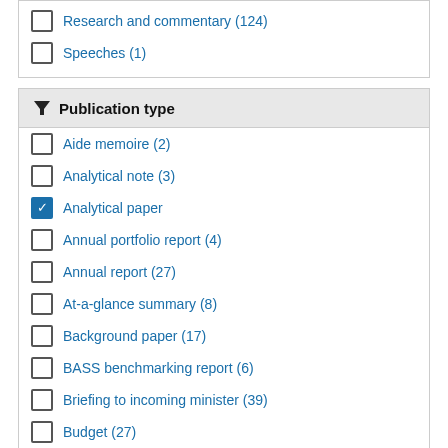Research and commentary (124)
Speeches (1)
Publication type
Aide memoire (2)
Analytical note (3)
Analytical paper
Annual portfolio report (4)
Annual report (27)
At-a-glance summary (8)
Background paper (17)
BASS benchmarking report (6)
Briefing to incoming minister (39)
Budget (27)